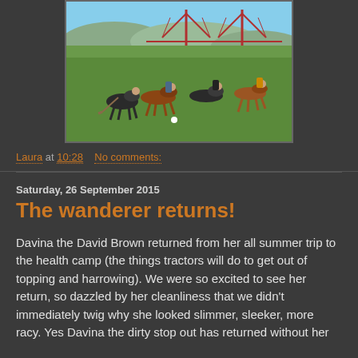[Figure (photo): Polo match being played on a green field with the Forth Rail Bridge visible in the background. Four riders on horseback are visible, with one player striking the ball.]
Laura at 10:28    No comments:
Saturday, 26 September 2015
The wanderer returns!
Davina the David Brown returned from her all summer trip to the health camp (the things tractors will do to get out of topping and harrowing).  We were so excited to see her return, so dazzled by her cleanliness that we didn't immediately twig why she looked slimmer, sleeker, more racy.  Yes Davina the dirty stop out has returned without her undercarriage. Operation "where is the bell in the tractor for...